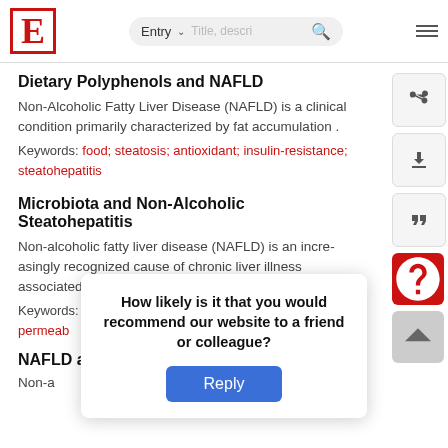E  Entry  Title, descri... [search icon] [menu]
Dietary Polyphenols and NAFLD
Non-Alcoholic Fatty Liver Disease (NAFLD) is a clinical condition primarily characterized by fat accumulation .
Keywords: food; steatosis; antioxidant; insulin-resistance; steatohepatitis
Microbiota and Non-Alcoholic Steatohepatitis
Non-alcoholic fatty liver disease (NAFLD) is an increasingly recognized cause of chronic liver illness associated with obesity.
Keywords: non-alcoholic steatohepatitis; intestinal permeability
NAFLD a
How likely is it that you would recommend our website to a friend or colleague?
Reply